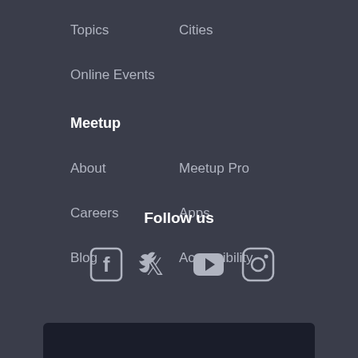Topics
Cities
Online Events
Meetup
About
Meetup Pro
Careers
Apps
Blog
Accessibility
Follow us
[Figure (other): Social media icons: Facebook, Twitter, YouTube, Instagram]